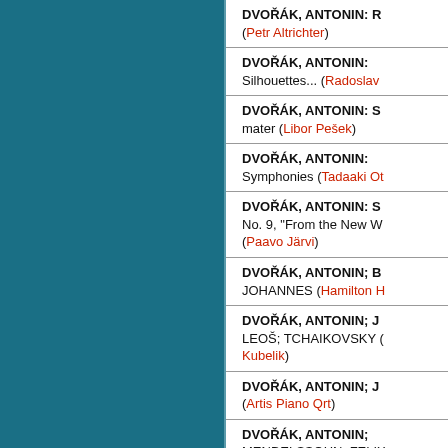DVOŘÁK, ANTONIN: R... (Petr Altrichter)
DVOŘÁK, ANTONIN: Silhouettes... (Radoslav...)
DVOŘÁK, ANTONIN: S... mater (Libor Pešek)
DVOŘÁK, ANTONIN: Symphonies (Tadaaki Ot...)
DVOŘÁK, ANTONIN: S... No. 9, "From the New W..." (Paavo Järvi)
DVOŘÁK, ANTONIN; B... JOHANNES (Hamilton H...)
DVOŘÁK, ANTONIN; J... LEOŠ; TCHAIKOVSKY (...Kubelik)
DVOŘÁK, ANTONIN; J... (Artis Piano Qrt)
DVOŘÁK, ANTONIN; MENDELSSOHN, FELIX... Arts Tr)
DVOŘÁK, ANTONIN; SHOSTAKOVICH (Merlin...)